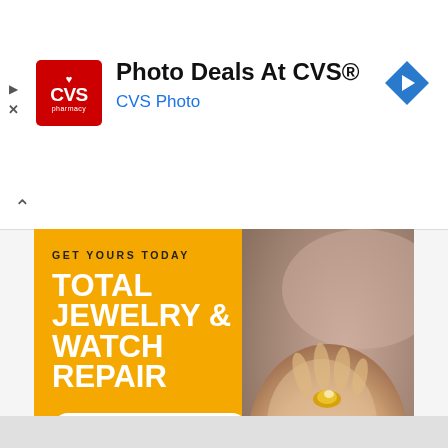[Figure (screenshot): CVS Pharmacy advertisement banner with red CVS logo, title 'Photo Deals At CVS®' and subtitle 'CVS Photo' in blue, with blue navigation diamond icon on right]
[Figure (infographic): Jewelry and watch repair advertisement. Yellow left panel with text 'GET YOURS TODAY', 'TOTAL JEWELRY & WATCH REPAIR' in white bold, 'Free Repair Quote >' button, black strip with 'Mens & Women's Jewelry & Watches'. Right side has photo of a hand holding a gold ring.]